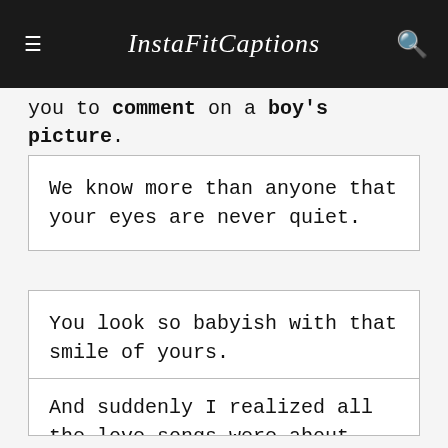InstaFitCaptions
you to comment on a boy's picture.
We know more than anyone that your eyes are never quiet.
You look so babyish with that smile of yours.
And suddenly I realized all the love songs were about you.